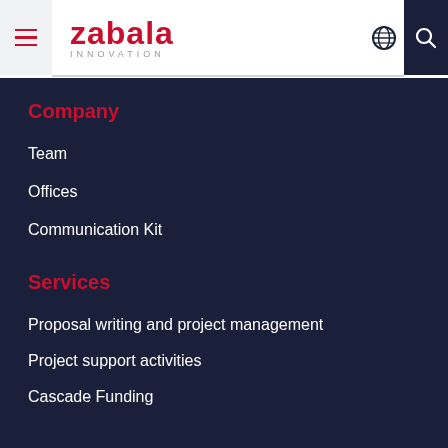zabala INNOVATION
Company
Team
Offices
Communication Kit
Services
Proposal writing and project management
Project support activities
Cascade Funding